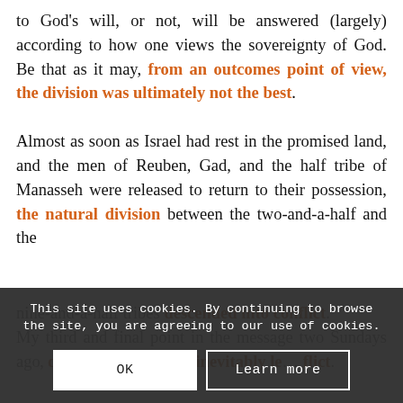to God's will, or not, will be answered (largely) according to how one views the sovereignty of God. Be that as it may, from an outcomes point of view, the division was ultimately not the best. Almost as soon as Israel had rest in the promised land, and the men of Reuben, Gad, and the half tribe of Manasseh were released to return to their possession, the natural division between the two-and-a-half and the nine-and-a-half tribes descended into conflict. My third and final point in the message two Sundays ago, division in the nation inevitably led to conflict.
This site uses cookies. By continuing to browse the site, you are agreeing to our use of cookies.